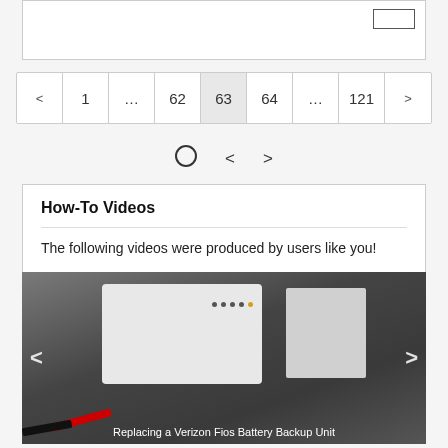[Figure (screenshot): Top portion of a webpage showing a bordered box with a small rectangle in the upper right corner]
< 1 ... 62 63 64 ... 121 >
○ < >
How-To Videos
The following videos were produced by users like you!
[Figure (photo): Video thumbnail showing a Verizon Fios Battery Backup Unit mounted on a wall with wiring visible. Caption reads: Replacing a Verizon Fios Battery Backup Unit. Navigation arrows on left and right sides.]
Replacing a Verizon Fios Battery Backup Unit